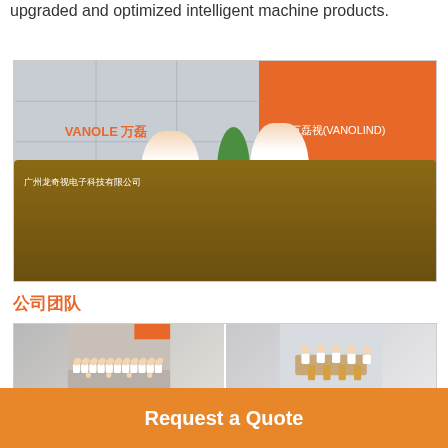upgraded and optimized intelligent machine products.
[Figure (photo): Office reception area with two female employees standing behind a wooden counter. Orange and gray walls with company logos 'VANOLE' and '万磊视' visible. Chinese text reads 广州龙奇视电子科技有限公司.]
公司团队
[Figure (photo): Grid of four team photos: top-left shows large group of employees in white shirts posing for photo, top-right shows employees in a meeting around a table, bottom-left shows office workspace with computers, bottom-right shows dark room with orange wall display.]
Request a Quote